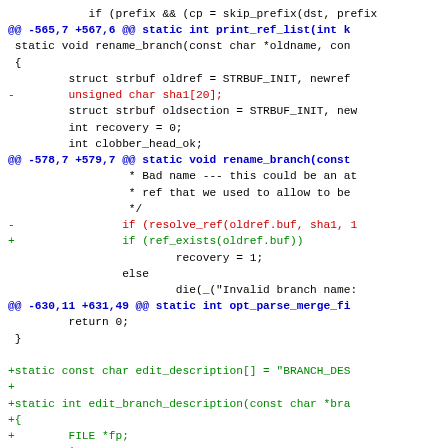[Figure (screenshot): A git diff output showing code changes in a C source file. The diff includes context lines in black, hunk headers in blue, removed lines in red, and added lines in green. The changes involve removing an 'unsigned char sha1[20]' variable and replacing a resolve_ref call with ref_exists, plus adding new static functions for edit_branch_description.]